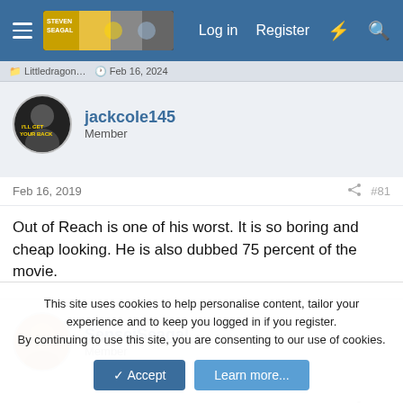Log in  Register
jackcole145
Member
Feb 16, 2019  #81
Out of Reach is one of his worst. It is so boring and cheap looking. He is also dubbed 75 percent of the movie.
SenseiSeagal
Member
Feb 16, 2019  #82
This site uses cookies to help personalise content, tailor your experience and to keep you logged in if you register.
By continuing to use this site, you are consenting to our use of cookies.